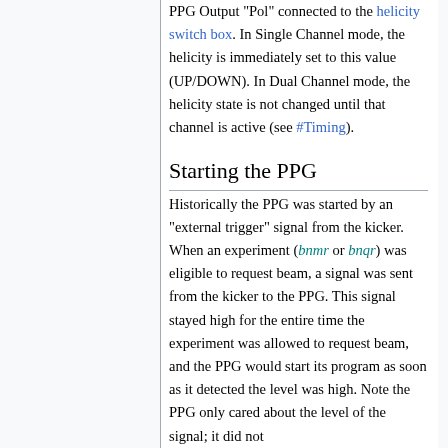PPG Output "Pol" connected to the helicity switch box. In Single Channel mode, the helicity is immediately set to this value (UP/DOWN). In Dual Channel mode, the helicity state is not changed until that channel is active (see #Timing).
Starting the PPG
Historically the PPG was started by an "external trigger" signal from the kicker. When an experiment (bnmr or bnqr) was eligible to request beam, a signal was sent from the kicker to the PPG. This signal stayed high for the entire time the experiment was allowed to request beam, and the PPG would start its program as soon as it detected the level was high. Note the PPG only cared about the level of the signal; it did not